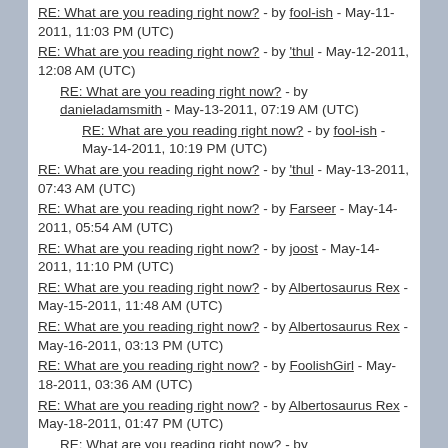RE: What are you reading right now? - by fool-ish - May-11-2011, 11:03 PM (UTC)
RE: What are you reading right now? - by 'thul - May-12-2011, 12:08 AM (UTC)
RE: What are you reading right now? - by danieladamsmith - May-13-2011, 07:19 AM (UTC)
RE: What are you reading right now? - by fool-ish - May-14-2011, 10:19 PM (UTC)
RE: What are you reading right now? - by 'thul - May-13-2011, 07:43 AM (UTC)
RE: What are you reading right now? - by Farseer - May-14-2011, 05:54 AM (UTC)
RE: What are you reading right now? - by joost - May-14-2011, 11:10 PM (UTC)
RE: What are you reading right now? - by Albertosaurus Rex - May-15-2011, 11:48 AM (UTC)
RE: What are you reading right now? - by Albertosaurus Rex - May-16-2011, 03:13 PM (UTC)
RE: What are you reading right now? - by FoolishGirl - May-18-2011, 03:36 AM (UTC)
RE: What are you reading right now? - by Albertosaurus Rex - May-18-2011, 01:47 PM (UTC)
RE: What are you reading right now? - by